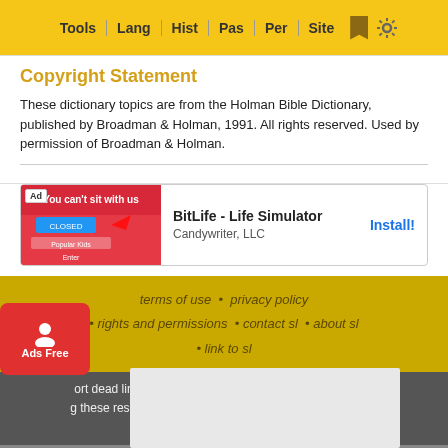Tools | Lang | Hist | Pas | Per | Site
Copyright Statement
These dictionary topics are from the Holman Bible Dictionary, published by Broadman & Holman, 1991. All rights reserved. Used by permission of Broadman & Holman.
[Figure (screenshot): Advertisement for BitLife - Life Simulator by Candywriter, LLC with Install! button]
terms of use • privacy policy • rights and permissions • contact sl • about sl • link to sl
ort dead links, typos, or html errors or suggestions about g these resources more useful use the convenient contact form
StudyLi ... nnology